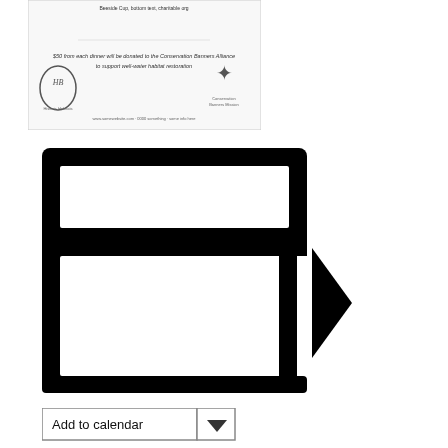[Figure (screenshot): A small thumbnail image of a document/flyer with logos and text about dinner and Conservation Banners Alliance]
[Figure (other): A large calendar or document icon with a thick black border showing a header row and a body area, with a right-pointing black triangle/arrow on the right side]
[Figure (other): An 'Add to calendar' button with a dropdown arrow]